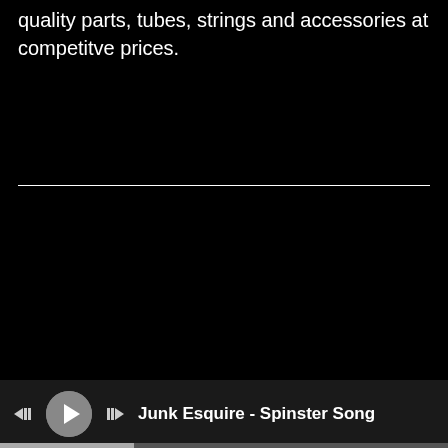quality parts, tubes, strings and accessories at competitve prices.
[Figure (screenshot): Media player interface with black background, white horizontal divider line, and player bar at the bottom showing skip-back, play, and skip-forward controls with track title 'Junk Esquire - Spinster Song' and a progress bar.]